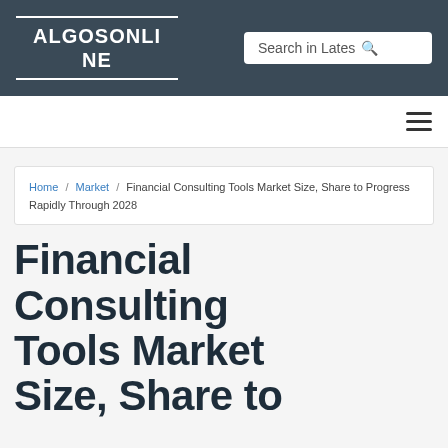ALGOSONLINE
Search in Lates
Home / Market / Financial Consulting Tools Market Size, Share to Progress Rapidly Through 2028
Financial Consulting Tools Market Size, Share to